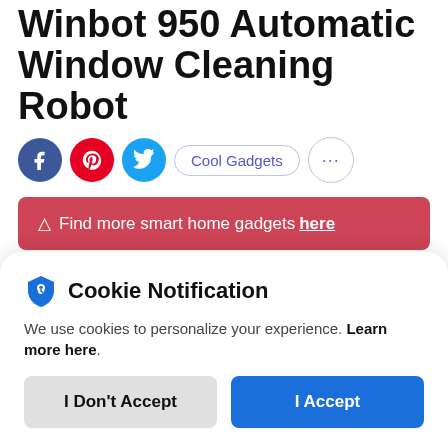Winbot 950 Automatic Window Cleaning Robot
[Figure (infographic): Social share buttons: Facebook (blue circle), Pinterest (red circle), Twitter (cyan circle), Cool Gadgets pill button, dots/more button]
△Find more smart home gadgets here
Enjoy the view from your windows in the most
Cookie Notification
We use cookies to personalize your experience. Learn more here.
I Don't Accept | I Accept